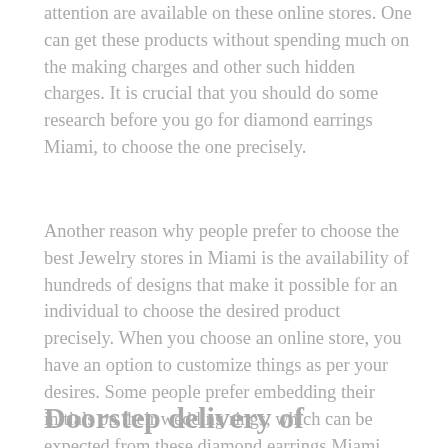attention are available on these online stores. One can get these products without spending much on the making charges and other such hidden charges. It is crucial that you should do some research before you go for diamond earrings Miami, to choose the one precisely.
Another reason why people prefer to choose the best Jewelry stores in Miami is the availability of hundreds of designs that make it possible for an individual to choose the desired product precisely. When you choose an online store, you have an option to customize things as per your desires. Some people prefer embedding their initials on their wedding rings, which can be expected from these diamond earrings Miami stores.
Doorstep delivery of